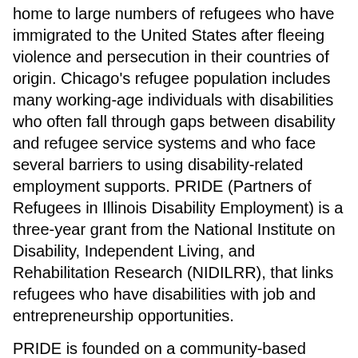home to large numbers of refugees who have immigrated to the United States after fleeing violence and persecution in their countries of origin. Chicago's refugee population includes many working-age individuals with disabilities who often fall through gaps between disability and refugee service systems and who face several barriers to using disability-related employment supports. PRIDE (Partners of Refugees in Illinois Disability Employment) is a three-year grant from the National Institute on Disability, Independent Living, and Rehabilitation Research (NIDILRR), that links refugees who have disabilities with job and entrepreneurship opportunities.
PRIDE is founded on a community-based participatory approach and has four broad goals: (1) build organizational capacity among refugee service providers; (2) provide comprehensive training interventions and supports to promote competitive- and self-employment among refugees with disabilities; (3) improve connectivity among disabled refugees, VR service providers, and potential employers by developing and field testing an information technology (IT)